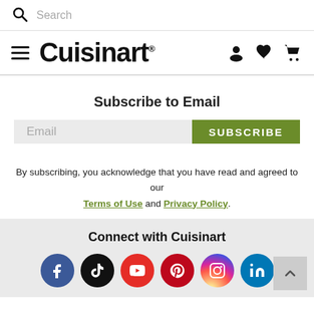Search
[Figure (logo): Cuisinart logo with hamburger menu icon and navigation icons (user, heart, cart)]
Subscribe to Email
Email | SUBSCRIBE
By subscribing, you acknowledge that you have read and agreed to our Terms of Use and Privacy Policy.
Connect with Cuisinart
[Figure (infographic): Social media icons: Facebook, TikTok, YouTube, Pinterest, Instagram, LinkedIn]